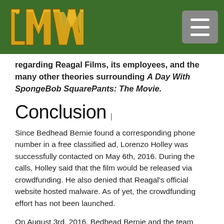LMW logo and navigation menu
regarding Reagal Films, its employees, and the many other theories surrounding A Day With SpongeBob SquarePants: The Movie.
Conclusion
Since Bedhead Bernie found a corresponding phone number in a free classified ad, Lorenzo Holley was successfully contacted on May 6th, 2016. During the calls, Holley said that the film would be released via crowdfunding. He also denied that Reagal's official website hosted malware. As of yet, the crowdfunding effort has not been launched.
On August 3rd, 2016, Bedhead Bernie and the team Ongoing Mysteries created two concluding videos for the search after contacting Mr. Orange, Mr.